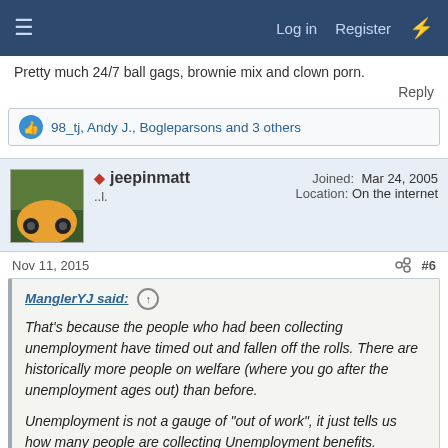Log in   Register
Pretty much 24/7 ball gags, brownie mix and clown porn.
Reply
98_tj, Andy J., Bogleparsons and 3 others
jeepinmatt
..l.
Joined: Mar 24, 2005
Location: On the internet
Nov 11, 2015  #6
ManglerYJ said:
That's because the people who had been collecting unemployment have timed out and fallen off the rolls. There are historically more people on welfare (where you go after the unemployment ages out) than before.

Unemployment is not a gauge of "out of work", it just tells us how many people are collecting Unemployment benefits.
Wait, so you're telling me that a statistic put out by the Obama administration is putting a positive light on the Obama administration